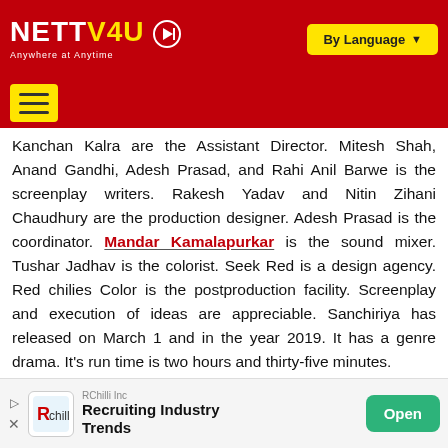NETTV4U — Anywhere at Anytime | By Language
Kanchan Kalra are the Assistant Director. Mitesh Shah, Anand Gandhi, Adesh Prasad, and Rahi Anil Barwe is the screenplay writers. Rakesh Yadav and Nitin Zihani Chaudhury are the production designer. Adesh Prasad is the coordinator. Mandar Kamalapurkar is the sound mixer. Tushar Jadhav is the colorist. Seek Red is a design agency. Red chilies Color is the postproduction facility. Screenplay and execution of ideas are appreciable. Sanchiriya has released on March 1 and in the year 2019. It has a genre drama. It's run time is two hours and thirty-five minutes. Sushant Singh Rajput, Bhumi Pednekar and Mansi Paingvaa did the lead roles in it.
[Figure (other): RChilli Inc advertisement banner with logo, text 'Recruiting Industry Trends' and 'Open' button]